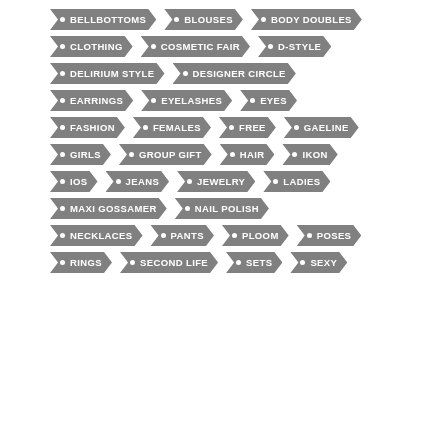BELLBOTTOMS
BLOUSES
BODY DOUBLES
CLOTHING
COSMETIC FAIR
D-STYLE
DELIRIUM STYLE
DESIGNER CIRCLE
EARRINGS
EYELASHES
EYES
FASHION
FEMALES
FREE
GAELINE
GIRLS
GROUP GIFT
HAIR
IKON
IOS
JEANS
JEWELRY
LADIES
MAXI GOSSAMER
NAIL POLISH
NECKLACES
PANTS
PLOOM
POSES
RINGS
SECOND LIFE
SETS
SEXY